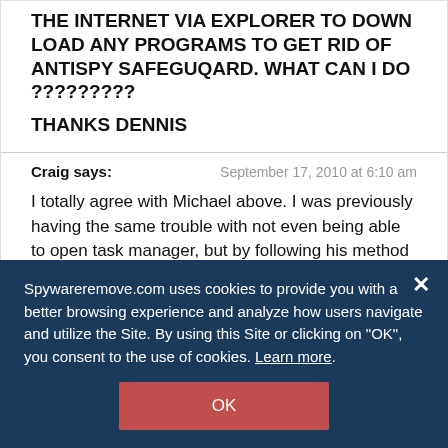THE INTERNET VIA EXPLORER TO DOWN LOAD ANY PROGRAMS TO GET RID OF ANTISPY SAFEGUQARD. WHAT CAN I DO ?????????
THANKS DENNIS
Craig says:
September 17, 2010 at 6:10 am
I totally agree with Michael above. I was previously having the same trouble with not even being able to open task manager, but by following his method (which not only got rid of the virus, but did so far quicker than the method this website is suggesting would have) my laptop is running just as it was
Spywareremove.com uses cookies to provide you with a better browsing experience and analyze how users navigate and utilize the Site. By using this Site or clicking on "OK", you consent to the use of cookies. Learn more.
OK